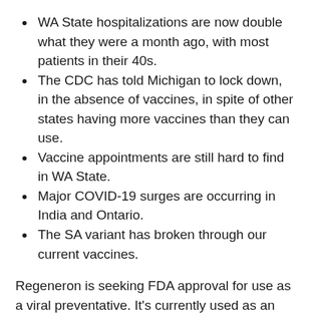WA State hospitalizations are now double what they were a month ago, with most patients in their 40s.
The CDC has told Michigan to lock down, in the absence of vaccines, in spite of other states having more vaccines than they can use.
Vaccine appointments are still hard to find in WA State.
Major COVID-19 surges are occurring in India and Ontario.
The SA variant has broken through our current vaccines.
Regeneron is seeking FDA approval for use as a viral preventative. It’s currently used as an antibody therapy and is said to be 80% effective in preventing COVID-19 and other viruses, which might make it an option to the